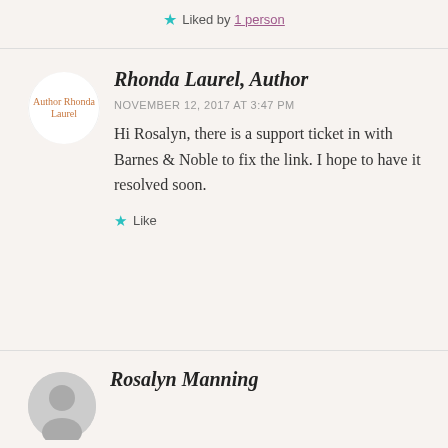Liked by 1 person
Rhonda Laurel, Author
NOVEMBER 12, 2017 AT 3:47 PM
Hi Rosalyn, there is a support ticket in with Barnes & Noble to fix the link. I hope to have it resolved soon.
Like
Rosalyn Manning